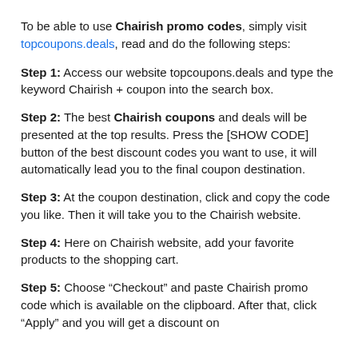To be able to use Chairish promo codes, simply visit topcoupons.deals, read and do the following steps:
Step 1: Access our website topcoupons.deals and type the keyword Chairish + coupon into the search box.
Step 2: The best Chairish coupons and deals will be presented at the top results. Press the [SHOW CODE] button of the best discount codes you want to use, it will automatically lead you to the final coupon destination.
Step 3: At the coupon destination, click and copy the code you like. Then it will take you to the Chairish website.
Step 4: Here on Chairish website, add your favorite products to the shopping cart.
Step 5: Choose “Checkout” and paste Chairish promo code which is available on the clipboard. After that, click “Apply” and you will get a discount on